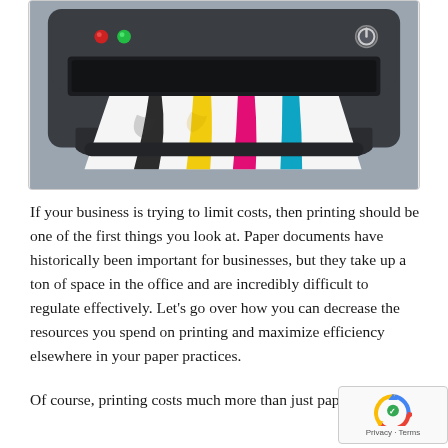[Figure (photo): A dark gray inkjet printer with CMYK color ink streaks (black, yellow, magenta, cyan) printed on a white sheet of paper coming out of the printer tray. The printer has indicator lights (red and green) on the left and a power button on the right.]
If your business is trying to limit costs, then printing should be one of the first things you look at. Paper documents have historically been important for businesses, but they take up a ton of space in the office and are incredibly difficult to regulate effectively. Let’s go over how you can decrease the resources you spend on printing and maximize efficiency elsewhere in your paper practices.
Of course, printing costs much more than just paper, ink and toner. You also spend money on filing cabinets and storage, and someone needs to take time to organize it and keep it